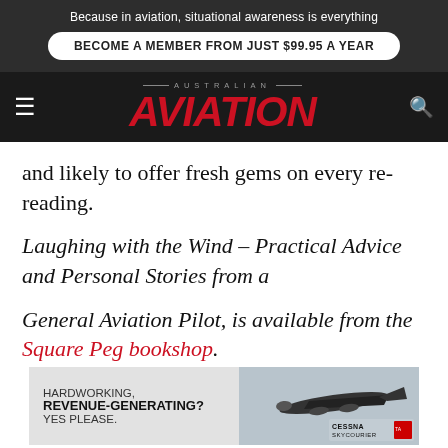Because in aviation, situational awareness is everything
BECOME A MEMBER FROM JUST $99.95 A YEAR
[Figure (logo): Australian Aviation magazine logo — red italic AVIATION text with AUSTRALIAN above in small caps on dark background, with hamburger menu icon and search icon]
and likely to offer fresh gems on every re-reading.
Laughing with the Wind – Practical Advice and Personal Stories from a
General Aviation Pilot, is available from the Square Peg bookshop.
[Figure (other): Advertisement for Cessna SkyCourier — text reads HARDWORKING, REVENUE-GENERATING? YES PLEASE. with Cessna SkyCourier logo and airplane image]